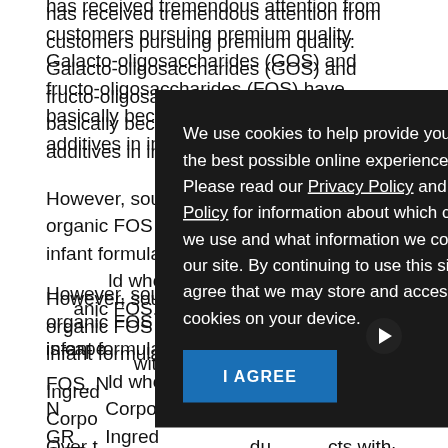has received tremendous attention from customers pursuing premium quality. Galacto-oligosaccharides (GOS) and fructo-oligosaccharides (FOS) have basically become two of the most popular additives in infant formula food.
However, sourcing both organic GOS and organic FOS can be difficult for organic infant formula food manufacturers around the world who is capable of supplying organic FOS. Nestle, Corporation ... for GOS and ... with FDA GRAS ... Ingredients.
[Figure (screenshot): Cookie consent modal dialog with dark background. Text reads: 'We use cookies to help provide you with the best possible online experience. Please read our Privacy Policy and Cookie Policy for information about which cookies we use and what information we collect on our site. By continuing to use this site, you agree that we may store and access cookies on your device.' With an 'I AGREE' button in blue.]
Over the ... products with be... f organic...